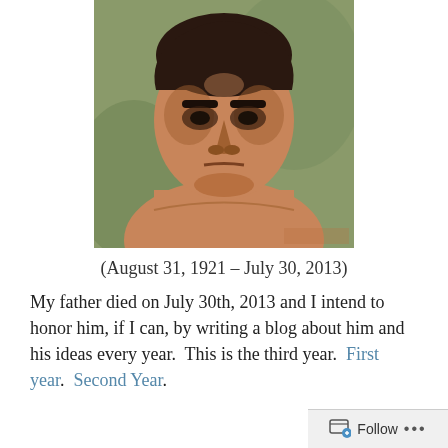[Figure (illustration): Oil painting portrait of a shirtless man with dark hair, intense expression, looking directly at viewer. Warm earth tones with greenish background.]
(August 31, 1921 – July 30, 2013)
My father died on July 30th, 2013 and I intend to honor him, if I can, by writing a blog about him and his ideas every year. This is the third year. First year. Second Year.
Follow ...